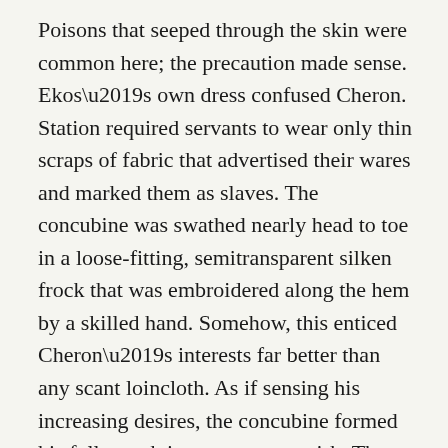Poisons that seeped through the skin were common here; the precaution made sense. Ekos's own dress confused Cheron. Station required servants to wear only thin scraps of fabric that advertised their wares and marked them as slaves. The concubine was swathed nearly head to toe in a loose-fitting, semitransparent silken frock that was embroidered along the hem by a skilled hand. Somehow, this enticed Cheron's interests far better than any scant loincloth. As if sensing his increasing desires, the concubine formed his full mouth into an aware smirk. The arrogance took Cheron aback and made him worry for the concubine's safety. The man's voice was strong and confident when he said, “Perhaps His Majesty would like to undress me first?” Sinnac guffawed at Cheron’s horrified